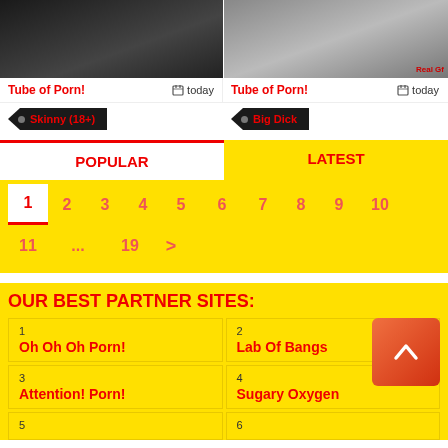[Figure (photo): Two video thumbnail images side by side at top of page]
Tube of Porn! today
Tube of Porn! today
Skinny (18+)
Big Dick
POPULAR
LATEST
1 2 3 4 5 6 7 8 9 10
11 ... 19 >
OUR BEST PARTNER SITES:
1
Oh Oh Oh Porn!
2
Lab Of Bangs
3
Attention! Porn!
4
Sugary Oxygen
5
6